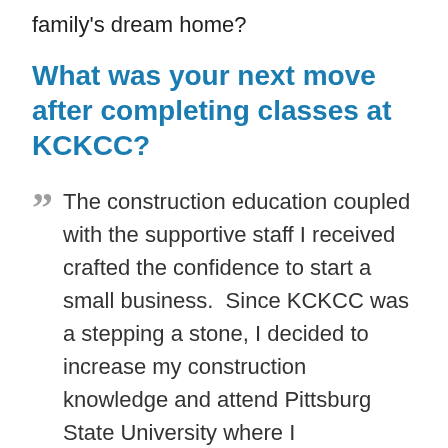family's dream home?
What was your next move after completing classes at KCKCC?
The construction education coupled with the supportive staff I received crafted the confidence to start a small business.  Since KCKCC was a stepping a stone, I decided to increase my construction knowledge and attend Pittsburg State University where I